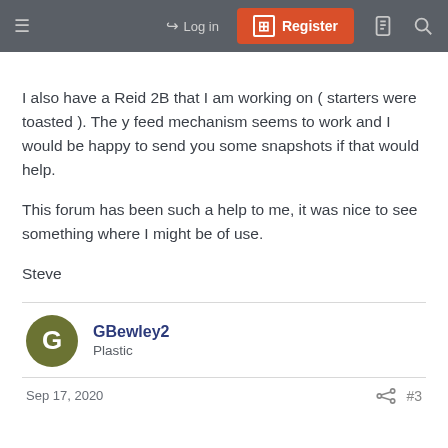Log in  Register
I also have a Reid 2B that I am working on ( starters were toasted ). The y feed mechanism seems to work and I would be happy to send you some snapshots if that would help.

This forum has been such a help to me, it was nice to see something where I might be of use.

Steve
GBewley2
Plastic
Sep 17, 2020  #3